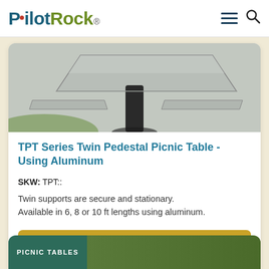Pilot Rock®
[Figure (photo): Close-up photo of a twin pedestal picnic table top surface and pedestal support, showing concrete-look tabletop with a dark metal center pedestal, set on grass.]
TPT Series Twin Pedestal Picnic Table - Using Aluminum
SKW: TPT::
Twin supports are secure and stationary. Available in 6, 8 or 10 ft lengths using aluminum.
Get a Quote
PICNIC TABLES